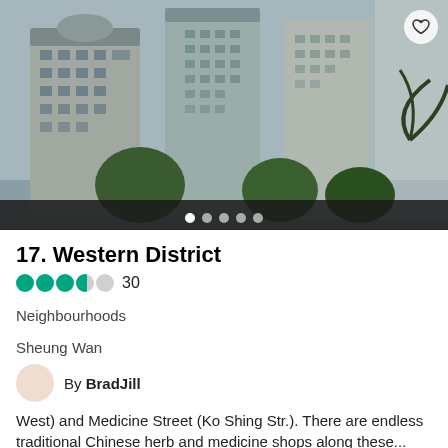[Figure (photo): Tall modern residential skyscrapers in an urban district, with trees and misty sky in the background]
17. Western District
●●●●○ 30
Neighbourhoods
Sheung Wan
By BradJill
West) and Medicine Street (Ko Shing Str.). There are endless traditional Chinese herb and medicine shops along these...
[Figure (photo): Street-level view of shops with red signage and green trees in an urban area]